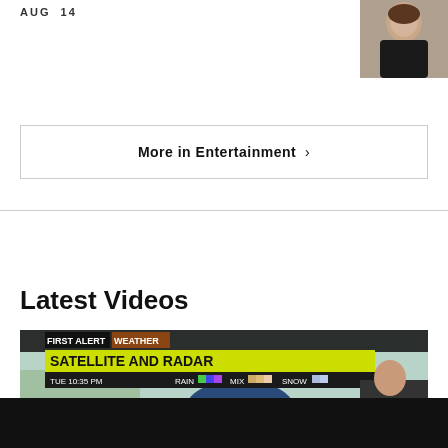AUG 14
[Figure (photo): Close-up photo of a woman in a dark top, cropped at top right of page]
More in Entertainment ›
Latest Videos
[Figure (screenshot): Weather broadcast screenshot showing 'FIRST ALERT WEATHER - SATELLITE AND RADAR' with a map of North America including Great Lakes region. Shows TUE 10:35 PM with RAIN, MIX, SNOW indicators. Cities labeled: WINNIPEG, BISMARCK, MINNEAPOLIS, OTTAWA, TORONTO, QUEBEC. A weatherman stands to the right of the map. Play button overlay in center.]